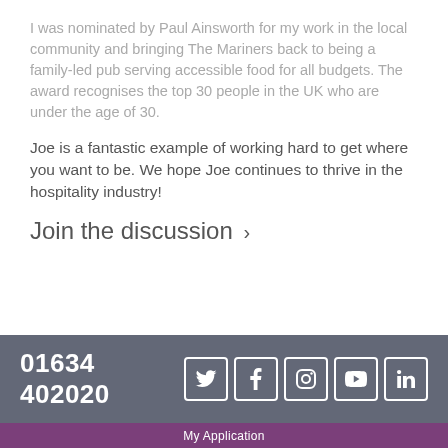I was nominated by Paul Ainsworth for my work in the local community and bringing The Mariners back to being a family-led pub serving accessible food for all budgets. The award recognises the top 30 people in the UK who are under the age of 30.
Joe is a fantastic example of working hard to get where you want to be. We hope Joe continues to thrive in the hospitality industry!
Join the discussion ›
01634 402020
My Application